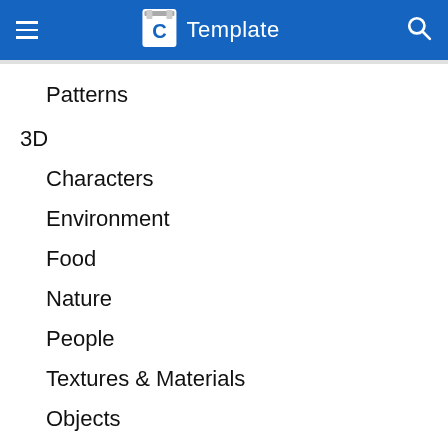C Template
Patterns
3D
Characters
Environment
Food
Nature
People
Textures & Materials
Objects
Fonts